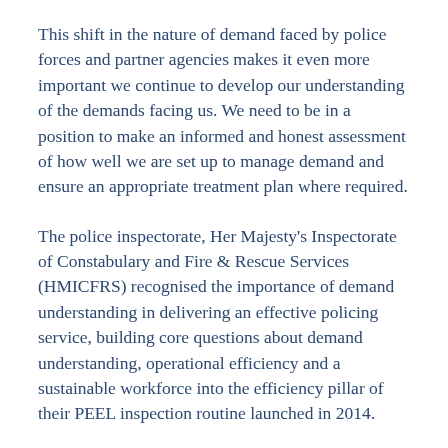This shift in the nature of demand faced by police forces and partner agencies makes it even more important we continue to develop our understanding of the demands facing us. We need to be in a position to make an informed and honest assessment of how well we are set up to manage demand and ensure an appropriate treatment plan where required.
The police inspectorate, Her Majesty's Inspectorate of Constabulary and Fire & Rescue Services (HMICFRS) recognised the importance of demand understanding in delivering an effective policing service, building core questions about demand understanding, operational efficiency and a sustainable workforce into the efficiency pillar of their PEEL inspection routine launched in 2014.
This was followed in 2018 by the Force...